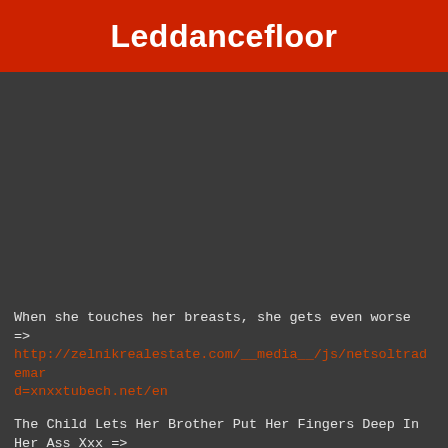Leddancefloor
[Figure (other): Dark background area, video thumbnail placeholder]
When she touches her breasts, she gets even worse => http://zelnikrealestate.com/__media__/js/netsoltrademar d=xnxxtubech.net/en
The Child Lets Her Brother Put Her Fingers Deep In Her Ass Xxx => http://tracking.nesox.com/tracking/?u=agency%40easy-news.info&msg=CD0B1312.2D29.4CFF.9872.3985CBBB
He tries his cock and likes everything => http://mygov.net/__media__/js/netsoltrademark.php d=xnxxtubech.net/fr/video/333